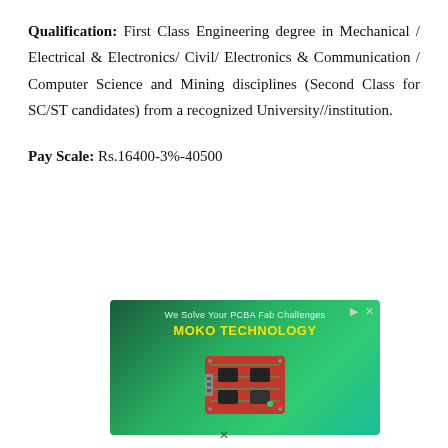Qualification: First Class Engineering degree in Mechanical / Electrical & Electronics/ Civil/ Electronics & Communication / Computer Science and Mining disciplines (Second Class for SC/ST candidates) from a recognized University//institution.
Pay Scale: Rs.16400-3%-40500
[Figure (photo): Advertisement banner for MOKO TECHNOLOGY showing a red PCB circuit board on a green gradient background with text 'We Solve Your PCBA Fab Challenges' and 'MOKO TECHNOLOGY']